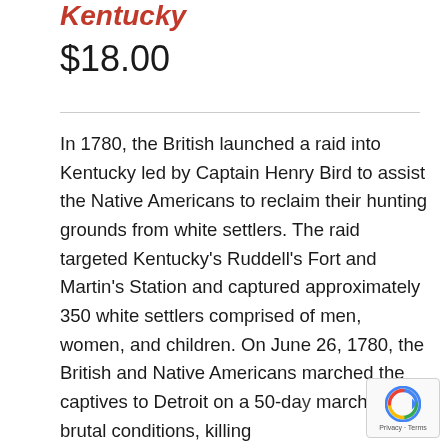Kentucky
$18.00
In 1780, the British launched a raid into Kentucky led by Captain Henry Bird to assist the Native Americans to reclaim their hunting grounds from white settlers. The raid targeted Kentucky's Ruddell's Fort and Martin's Station and captured approximately 350 white settlers comprised of men, women, and children. On June 26, 1780, the British and Native Americans marched the captives to Detroit on a 50-day march under brutal conditions, killing